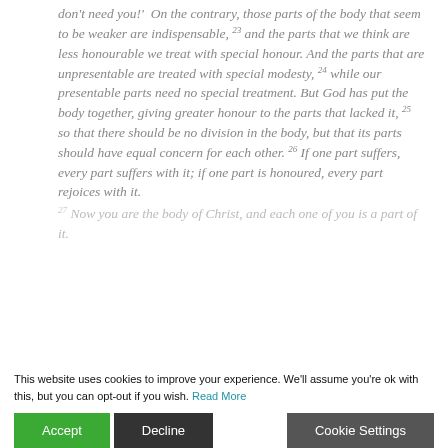don't need you!' On the contrary, those parts of the body that seem to be weaker are indispensable, 23 and the parts that we think are less honourable we treat with special honour. And the parts that are unpresentable are treated with special modesty, 24 while our presentable parts need no special treatment. But God has put the body together, giving greater honour to the parts that lacked it, 25 so that there should be no division in the body, but that its parts should have equal concern for each other. 26 If one part suffers, every part suffers with it; if one part is honoured, every part rejoices with it.
27 Now you are the body of Christ, and each one of you is a part of it.
This website uses cookies to improve your experience. We'll assume you're ok with this, but you can opt-out if you wish. Read More